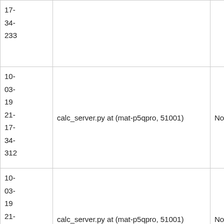|  |  |  |
| --- | --- | --- |
| 17-
34-
233 |  |  |
| 10-
03-
19
21-
17-
34-
312 | calc_server.py at (mat-p5qpro, 51001) | None |
| 10-
03-
19
21-
17-
34-
390 | calc_server.py at (mat-p5qpro, 51001) | None |